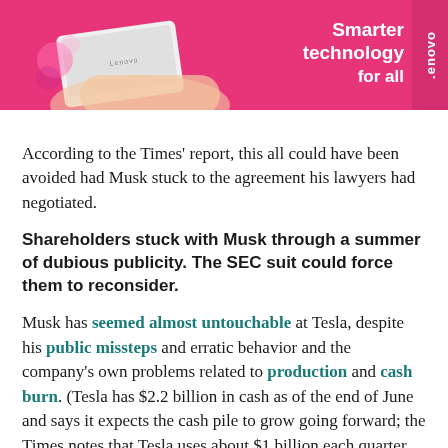[Figure (photo): Lenovo advertisement banner with pink background showing a hand holding a white laptop, with text 'Smarter technology for all' and Lenovo branding on the right side tab.]
According to the Times' report, this all could have been avoided had Musk stuck to the agreement his lawyers had negotiated.
Shareholders stuck with Musk through a summer of dubious publicity. The SEC suit could force them to reconsider.
Musk has seemed almost untouchable at Tesla, despite his public missteps and erratic behavior and the company's own problems related to production and cash burn. (Tesla has $2.2 billion in cash as of the end of June and says it expects the cash pile to grow going forward; the Times notes that Tesla uses about $1 billion each quarter and has